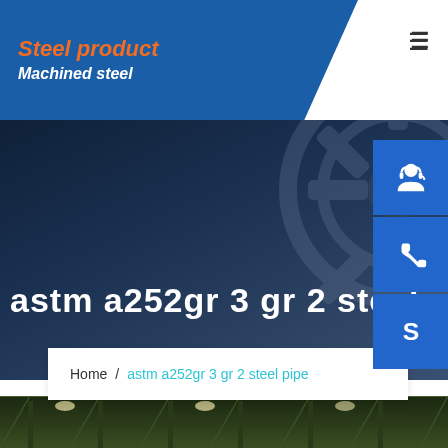Steel product / Machined steel
astm a252gr 3 gr 2 steel pipe
Home / astm a252gr 3 gr 2 steel pipe
[Figure (photo): Bottom strip showing interior of a steel warehouse/factory with green structural columns and overhead lighting]